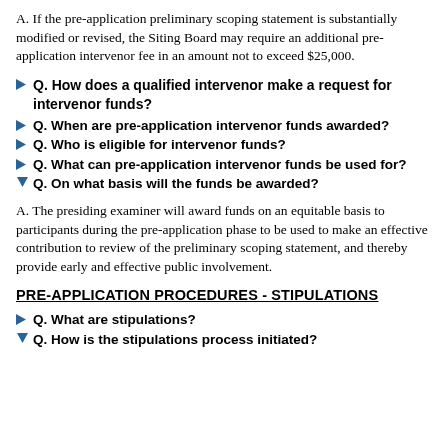A. If the pre-application preliminary scoping statement is substantially modified or revised, the Siting Board may require an additional pre-application intervenor fee in an amount not to exceed $25,000.
Q. How does a qualified intervenor make a request for intervenor funds?
Q. When are pre-application intervenor funds awarded?
Q. Who is eligible for intervenor funds?
Q. What can pre-application intervenor funds be used for?
Q. On what basis will the funds be awarded?
A. The presiding examiner will award funds on an equitable basis to participants during the pre-application phase to be used to make an effective contribution to review of the preliminary scoping statement, and thereby provide early and effective public involvement.
PRE-APPLICATION PROCEDURES - STIPULATIONS
Q. What are stipulations?
Q. How is the stipulations process initiated?